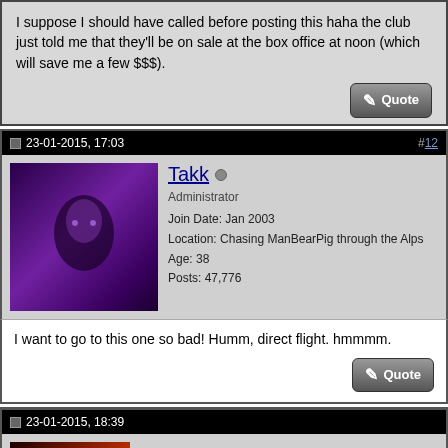I suppose I should have called before posting this haha the club just told me that they'll be on sale at the box office at noon (which will save me a few $$$).
23-01-2015, 17:03
#12
Takk
Administrator
Join Date: Jan 2003
Location: Chasing ManBearPig through the Alps
Age: 38
Posts: 47,776
I want to go to this one so bad! Humm, direct flight. hmmmm.
23-01-2015, 18:39
Hunter
I am purity, they call me perverted
4 aces up in this bee-yatch